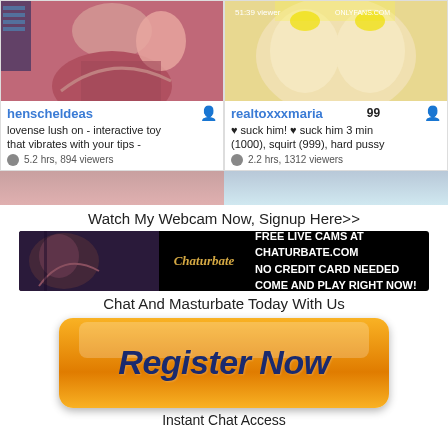[Figure (screenshot): Webcam card for user henscheldeas showing partial figure image, username in blue, description text about lovense lush toy, 5.2 hrs 894 viewers]
[Figure (screenshot): Webcam card for user realtoxxxmaria showing partial figure image, username in blue, number 99 badge, description text about tips goals, 2.2 hrs 1312 viewers]
[Figure (screenshot): Partial row of two more webcam preview images cropped at bottom]
Watch My Webcam Now, Signup Here>>
[Figure (screenshot): Chaturbate banner ad: FREE LIVE CAMS AT CHATURBATE.COM NO CREDIT CARD NEEDED COME AND PLAY RIGHT NOW!]
Chat And Masturbate Today With Us
[Figure (screenshot): Orange Register Now button]
Instant Chat Access